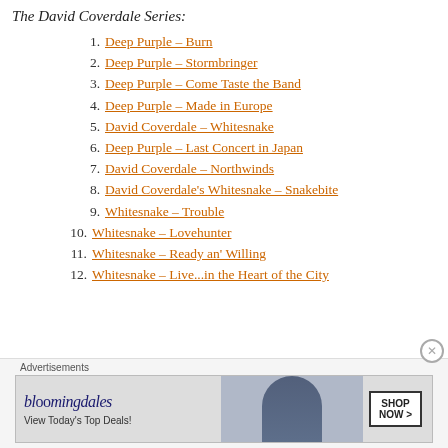The David Coverdale Series:
1. Deep Purple – Burn
2. Deep Purple – Stormbringer
3. Deep Purple – Come Taste the Band
4. Deep Purple – Made in Europe
5. David Coverdale – Whitesnake
6. Deep Purple – Last Concert in Japan
7. David Coverdale – Northwinds
8. David Coverdale's Whitesnake – Snakebite
9. Whitesnake – Trouble
10. Whitesnake – Lovehunter
11. Whitesnake – Ready an' Willing
12. Whitesnake – Live...in the Heart of the City
Advertisements
[Figure (other): Bloomingdale's advertisement banner: 'View Today's Top Deals!' with SHOP NOW button and woman in hat image]